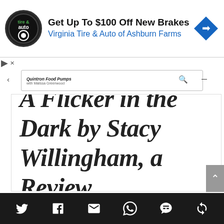[Figure (screenshot): Advertisement banner for Virginia Tire & Auto of Ashburn Farms with logo, text 'Get Up To $100 Off New Brakes', blue navigation arrow icon]
[Figure (screenshot): Website navigation bar with up arrow, podcast/blog title 'Quintron Food Pumps with Malissa Greenwood', search icon and menu icon]
A Flicker in the Dark by Stacy Willingham, a Review
[Figure (screenshot): Social sharing footer bar with Twitter, Facebook, Email, WhatsApp, SMS, and share icons on dark background]